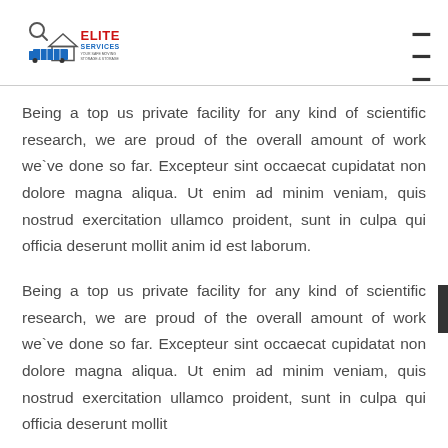Elite Services logo and navigation
Being a top us private facility for any kind of scientific research, we are proud of the overall amount of work we`ve done so far. Excepteur sint occaecat cupidatat non dolore magna aliqua. Ut enim ad minim veniam, quis nostrud exercitation ullamco proident, sunt in culpa qui officia deserunt mollit anim id est laborum.
Being a top us private facility for any kind of scientific research, we are proud of the overall amount of work we`ve done so far. Excepteur sint occaecat cupidatat non dolore magna aliqua. Ut enim ad minim veniam, quis nostrud exercitation ullamco proident, sunt in culpa qui officia deserunt mollit